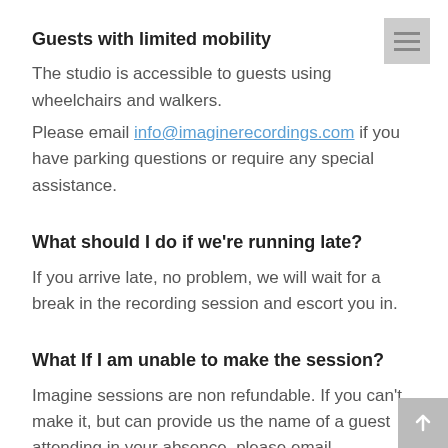Guests with limited mobility
The studio is accessible to guests using wheelchairs and walkers.
Please email info@imaginerecordings.com if you have parking questions or require any special assistance.
What should I do if we're running late?
If you arrive late, no problem, we will wait for a break in the recording session and escort you in.
What If I am unable to make the session?
Imagine sessions are non refundable. If you can't make it, but can provide us the name of a guest attending in your absence, please email